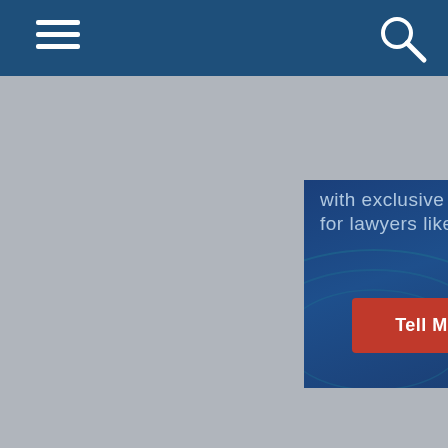[Figure (screenshot): Navigation bar with hamburger menu on left and search icon on right, dark blue background]
[Figure (infographic): Advertisement banner with dark blue background showing 'with exclusive savings for lawyers like you.' text and a red 'Tell Me More' button]
[Figure (infographic): CE Manager advertisement showing logo with 'World-Class LMS & CLE Tracking' tagline, phone mockup of CE Manager app showing Jane Adams profile, and 'SPECIFICALLY' text on gold background]